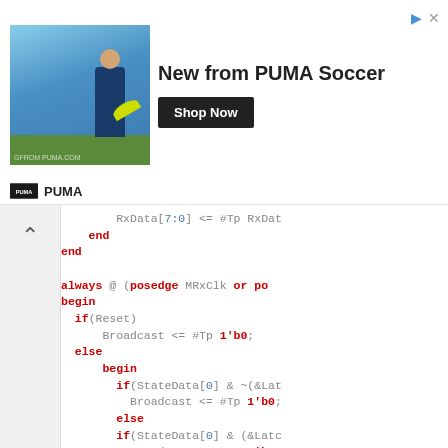[Figure (screenshot): PUMA Soccer advertisement banner with player image, headline 'New from PUMA Soccer', and 'Shop Now' button]
[Figure (screenshot): PUMA brand logo and name]
[Figure (screenshot): Left sidebar with collapse/chevron arrow]
RxData[7:0] <= #Tp RxDat
    end
end

always @ (posedge MRxClk or po
begin
  if(Reset)
      Broadcast <= #Tp 1'b0;
  else
    begin
      if(StateData[0] & ~(&Lat
          Broadcast <= #Tp 1'b0;
      else
      if(StateData[0] & (&Latc
          Broadcast <= #Tp 1'b1;
      else
      if(RxAbort | RxEndFrm)
          Broadcast <= #Tp 1'b0